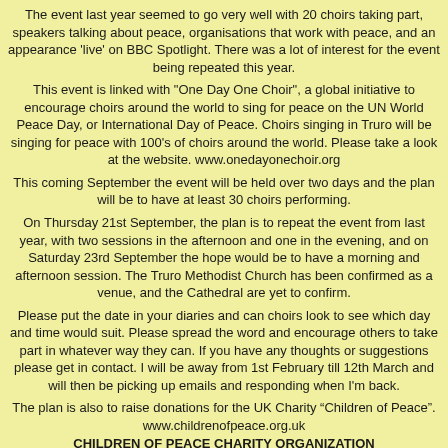The event last year seemed to go very well with 20 choirs taking part, speakers talking about peace, organisations that work with peace, and an appearance 'live' on BBC Spotlight. There was a lot of interest for the event being repeated this year.
This event is linked with "One Day One Choir", a global initiative to encourage choirs around the world to sing for peace on the UN World Peace Day, or International Day of Peace. Choirs singing in Truro will be singing for peace with 100's of choirs around the world. Please take a look at the website. www.onedayonechoir.org
This coming September the event will be held over two days and the plan will be to have at least 30 choirs performing.
On Thursday 21st September, the plan is to repeat the event from last year, with two sessions in the afternoon and one in the evening, and on Saturday 23rd September the hope would be to have a morning and afternoon session. The Truro Methodist Church has been confirmed as a venue, and the Cathedral are yet to confirm.
Please put the date in your diaries and can choirs look to see which day and time would suit. Please spread the word and encourage others to take part in whatever way they can. If you have any thoughts or suggestions please get in contact. I will be away from 1st February till 12th March and will then be picking up emails and responding when I'm back.
The plan is also to raise donations for the UK Charity “Children of Peace”. www.childrenofpeace.org.uk
CHILDREN OF PEACE CHARITY ORGANIZATION
www.childrenofpeace.org.uk
No mention a children charity organization for Palestinian children...